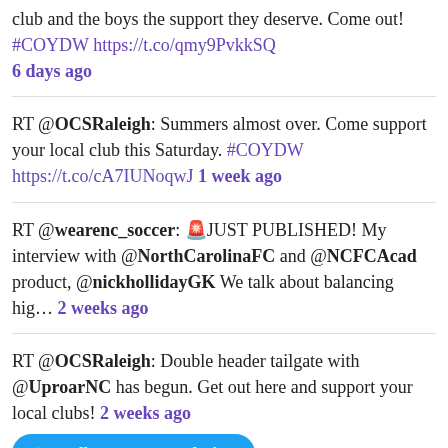club and the boys the support they deserve. Come out! #COYDW https://t.co/qmy9PvkkSQ 6 days ago
RT @OCSRaleigh: Summers almost over. Come support your local club this Saturday. #COYDW https://t.co/cA7IUNoqwJ 1 week ago
RT @wearenc_soccer: 🚨JUST PUBLISHED! My interview with @NorthCarolinaFC and @NCFCAcad product, @nickhollidayGK We talk about balancing hig… 2 weeks ago
RT @OCSRaleigh: Double header tailgate with @UproarNC has begun. Get out here and support your local clubs! 2 weeks ago
Follow @RUWandering